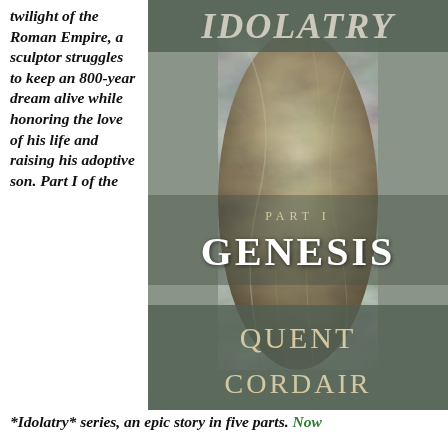twilight of the Roman Empire, a sculptor struggles to keep an 800-year dream alive while honoring the love of his life and raising his adoptive son. Part I of the *Idolatry* series, an epic story in five parts. Now
[Figure (illustration): Book cover for 'Idolatry: Part I Genesis' by Quent Cordair. Features a marble classical sculpture torso on a muted green-grey background. Top banner shows title 'Idolatry' in italic serif font on a semi-transparent grey-green overlay. Center shows 'PART I' in small caps and 'GENESIS' in large white serif letters. Bottom banner shows author name 'QUENT CORDAIR' in large tan/gold serif letters on semi-transparent overlay.]